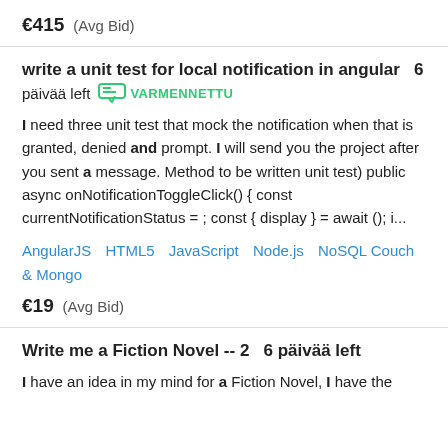€415  (Avg Bid)
write a unit test for local notification in angular  6 päivää left  VARMENNETTU
I need three unit test that mock the notification when that is granted, denied and prompt. I will send you the project after you sent a message. Method to be written unit test) public async onNotificationToggleClick() { const currentNotificationStatus = ; const { display } = await (); i...
AngularJS  HTML5  JavaScript  Node.js  NoSQL Couch & Mongo
€19  (Avg Bid)
Write me a Fiction Novel -- 2  6 päivää left
I have an idea in my mind for a Fiction Novel, I have the